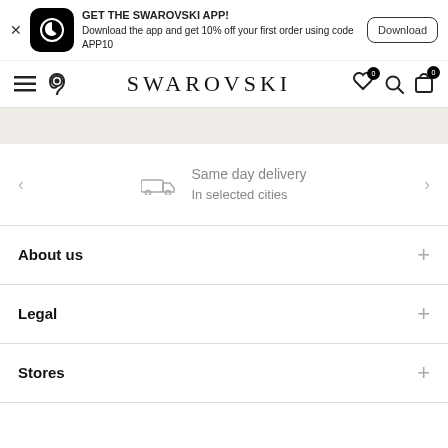[Figure (screenshot): App download banner with Swarovski app icon, text 'GET THE SWAROVSKI APP! Download the app and get 10% off your first order using code APP10', and a Download button]
SWAROVSKI
[Figure (infographic): Gray decorative strip below navigation]
Same day delivery
In selected cities
About us
Legal
Stores